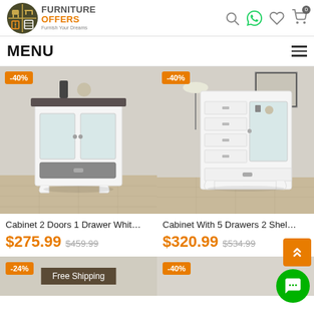[Figure (logo): Furniture Offers logo with icon and tagline 'Furnish Your Dreams']
MENU
[Figure (photo): Cabinet 2 Doors 1 Drawer White product image with -40% discount badge]
[Figure (photo): Cabinet With 5 Drawers 2 Shelves product image with -40% discount badge]
Cabinet 2 Doors 1 Drawer Whit...
$275.99 $459.99
Cabinet With 5 Drawers 2 Shel...
$320.99 $534.99
-24%
Free Shipping
-40%